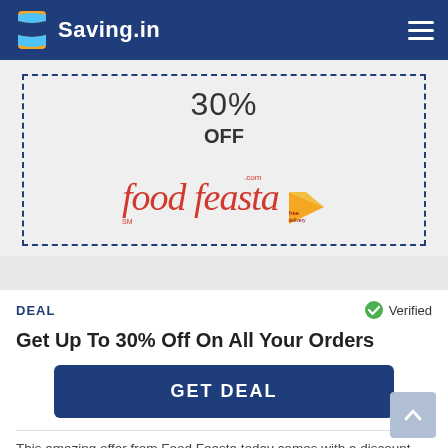Saving.in
[Figure (logo): Food Feasta logo with script text and pizza slice graphic]
30%
OFF
DEAL
Verified
Get Up To 30% Off On All Your Orders
GET DEAL
This amazing offer from Food Feasta today comes with a discount offer of up to 30% off on all the orders you place